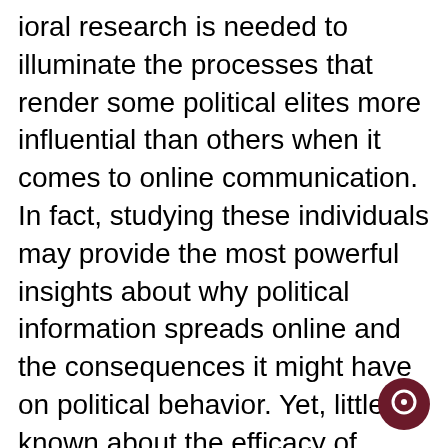ioral research is needed to illuminate the processes that render some political elites more influential than others when it comes to online communication. In fact, studying these individuals may provide the most powerful insights about why political information spreads online and the consequences it might have on political behavior. Yet, little is known about the efficacy of various types of appeals to massive audiences on social media (see Jost, Barberá et al., 2018).
Here, we gauge the influence of political elites in online social networks by examining how source